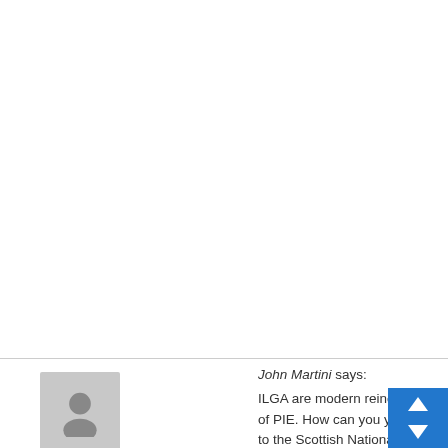mean?
"Eliminate all laws and policies that punish or criminalize intimacy, gender affirmation, abortion, HIV transmission non disclosure and exposure,'
Specifically HIV transmission non disclosure and exposure
I'm trying to get my head round it. Does this mean that if you are HIV positive and you knowingly fail to tell someone hoping to have sex with, and then have unprotected sex exposing them to the disease – that this behaviour – currently deemed illegal under common law crime of Wilful and Reckless Conduct – this behaviour would become legal?
I'm really hoping against hope that I've got this wrong. Am
10 April, 2021 at 4:36 pm
John Martini says:
ILGA are modern reincarnation of PIE. How can you you vote to the Scottish National Peadophile party and claim the highground.
https://en.m.wikipedia.org/wiki/Paedophile_Information